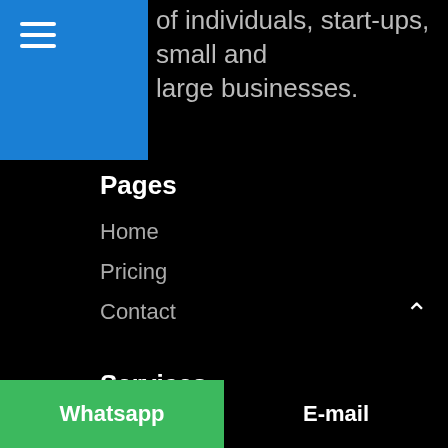of individuals, start-ups, small and large businesses.
Pages
Home
Pricing
Contact
Services
Graphic Design
Website Design
Printing
Signage
Whatsapp
E-mail